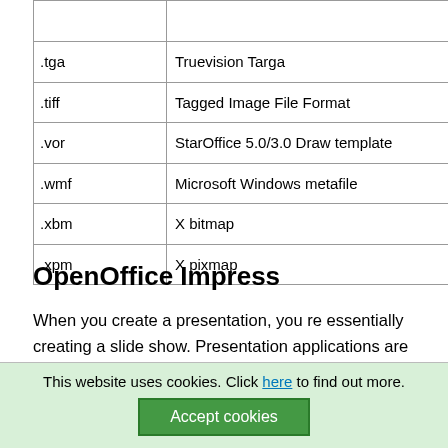| Extension | Description |
| --- | --- |
|  |  |
| .tga | Truevision Targa |
| .tiff | Tagged Image File Format |
| .vor | StarOffice 5.0/3.0 Draw template |
| .wmf | Microsoft Windows metafile |
| .xbm | X bitmap |
| .xpm | X pixmap |
OpenOffice Impress
When you create a presentation, you re essentially creating a slide show. Presentation applications are basically specialized word processors with graphics, and they support a slide show to a large audience in a room or sa...